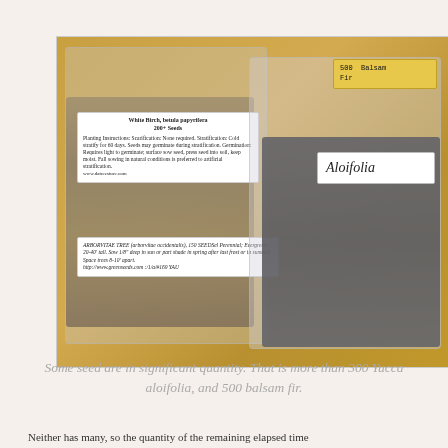[Figure (photo): Photograph of seed packets on a yellow/gold background. Left packet contains White Birch (Betula papyrifera) 200+ seeds and Arborvitae Tree seeds with labeled instruction tags. Right area shows a yellow envelope labeled '500 Balsam Fir' and a clear bag of dark Yucca aloifolia seeds with a handwritten label.]
Some seed are in significant quantity. That is more than 300 Yucca aloifolia, and 500 balsam fir.
Neither has many, so the quantity of the remaining elapsed time